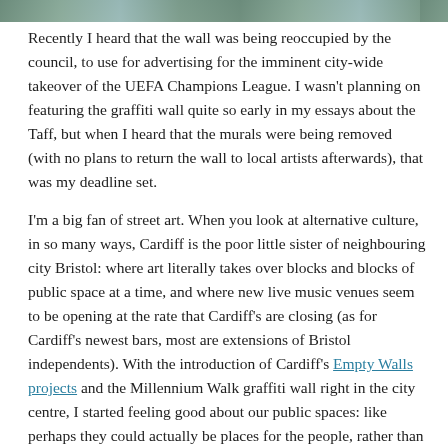[Figure (photo): Partial photograph strip at the top of the page, showing a natural outdoor scene with green and blue tones (water/landscape).]
Recently I heard that the wall was being reoccupied by the council, to use for advertising for the imminent city-wide takeover of the UEFA Champions League. I wasn't planning on featuring the graffiti wall quite so early in my essays about the Taff, but when I heard that the murals were being removed (with no plans to return the wall to local artists afterwards), that was my deadline set.
I'm a big fan of street art. When you look at alternative culture, in so many ways, Cardiff is the poor little sister of neighbouring city Bristol: where art literally takes over blocks and blocks of public space at a time, and where new live music venues seem to be opening at the rate that Cardiff's are closing (as for Cardiff's newest bars, most are extensions of Bristol independents). With the introduction of Cardiff's Empty Walls projects and the Millennium Walk graffiti wall right in the city centre, I started feeling good about our public spaces: like perhaps they could actually be places for the people, rather than for more and more advertising.
But apparently, this is not the case – not when there's football involved. It's big business, no one could deny that, and so between 1-3 June, all